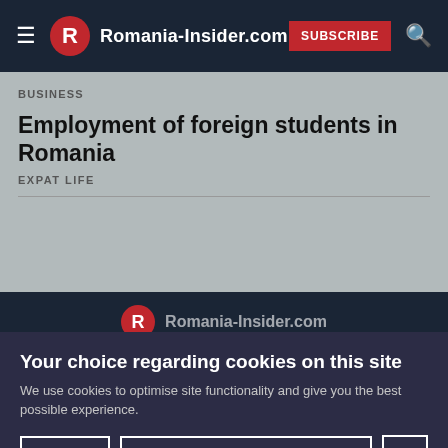Romania-Insider.com — SUBSCRIBE
BUSINESS
Employment of foreign students in Romania
EXPAT LIFE
[Figure (logo): Romania-Insider.com footer logo with red R circle]
Your choice regarding cookies on this site
We use cookies to optimise site functionality and give you the best possible experience.
Accept  Cookie Preferences  ✕